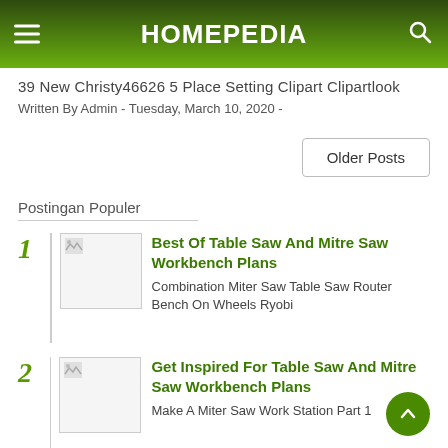HOMEPEDIA
39 New Christy46626 5 Place Setting Clipart Clipartlook
Written By Admin  -  Tuesday, March 10, 2020  -
Older Posts
Postingan Populer
Best Of Table Saw And Mitre Saw Workbench Plans — Combination Miter Saw Table Saw Router Bench On Wheels Ryobi
Get Inspired For Table Saw And Mitre Saw Workbench Plans — Make A Miter Saw Work Station Part 1